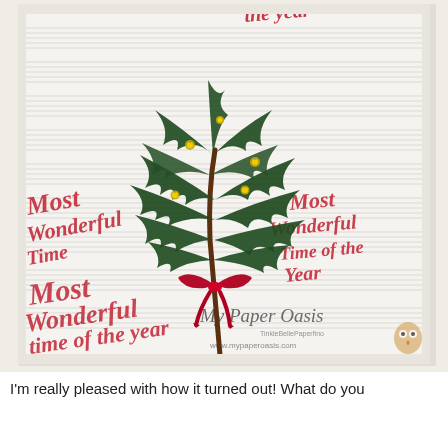[Figure (photo): A framed craft project showing a pine/evergreen branch sprig tied with a red ribbon bow, placed on a background of sheet music paper printed with red script text reading 'Most Wonderful Time of the Year'. The frame appears white/cream colored. Small gold jingle bells are scattered among the pine needles. A watermark reads 'My Paper Oasis' and 'www.mypaperoasis.com'.]
I'm really pleased with how it turned out!  What do you